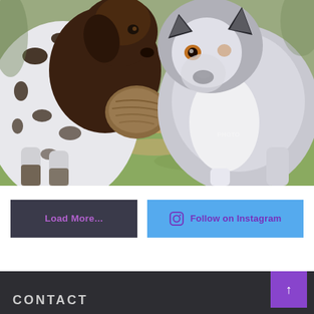[Figure (photo): Photo of two dogs outdoors. On the left is a white/grey spotted Dalmatian-mix dog and a dark brown German Shorthaired Pointer sniffing a piece of bark/mushroom in the center. On the right is a grey and white Husky/wolf-like dog looking at the camera. They are standing on green grass and dirt ground.]
Load More...
Follow on Instagram
↑
CONTACT